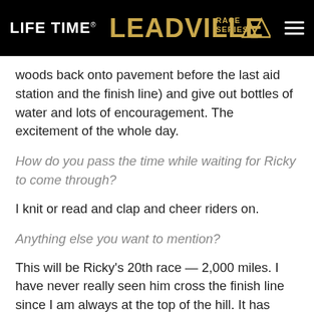LIFE TIME  LEADVILLE RACE SERIES
woods back onto pavement before the last aid station and the finish line) and give out bottles of water and lots of encouragement. The excitement of the whole day.
How do you pass the time while waiting for Ricky to come through?
I knit or read and clap and cheer riders on.
Anything else you want to mention?
This will be Ricky's 20th race — 2,000 miles. I have never really seen him cross the finish line since I am always at the top of the hill. It has changed a lot since it first started. I have seen changes in the